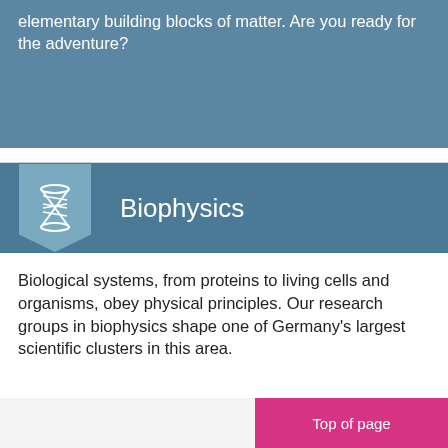elementary building blocks of matter. Are you ready for the adventure?
Biophysics
Biological systems, from proteins to living cells and organisms, obey physical principles. Our research groups in biophysics shape one of Germany's largest scientific clusters in this area.
Top of page
Fakultät für Physik | Imprint | James-Franck-Str. 1 | Data Protection